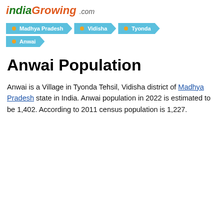indiaGrowing.com
Madhya Pradesh
Vidisha
Tyonda
Anwai
Anwai Population
Anwai is a Village in Tyonda Tehsil, Vidisha district of Madhya Pradesh state in India. Anwai population in 2022 is estimated to be 1,402. According to 2011 census population is 1,227.